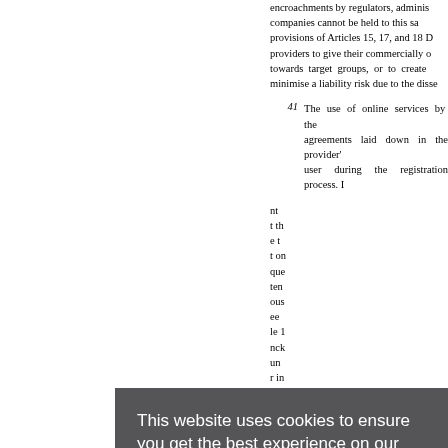encroachments by regulators, administrators, or companies cannot be held to this same standard. The provisions of Articles 15, 17, and 18 DSGVO require providers to give their commercially operated content towards target groups, or to create measures to minimise a liability risk due to the dissemination...
41 The use of online services by the user require agreements laid down in the provider's terms of use, which the user during the registration process. It...
certain communication standards that...
[Figure (screenshot): Cookie consent overlay with dark gray background. Text reads: 'This website uses cookies to ensure you get the best experience on our website. – Diese Website verwendet Cookies, um sicherzustellen, dass Sie die beste Erfahrung auf unserer Website erhalten. Learn more.' with an OK button at the bottom.]